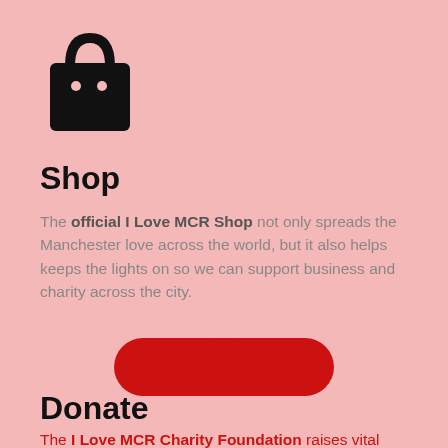[Figure (illustration): Black shopping bag icon with two white dots representing handles]
Shop
The official I Love MCR Shop not only spreads the Manchester love across the world, but it also helps keeps the lights on so we can support business and charity across the city.
[Figure (illustration): Red rounded pill/button shape (call to action button)]
[Figure (illustration): Red icon of a hand holding a heart (donate icon)]
Donate
The I Love MCR Charity Foundation raises vital funds to